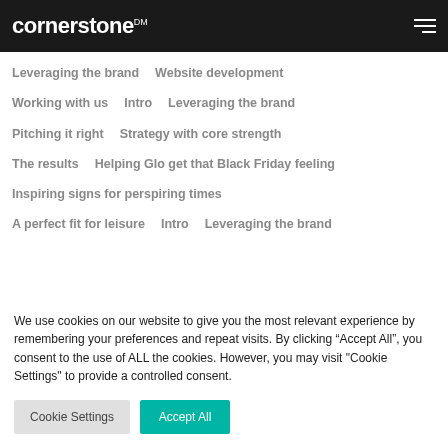cornerstone DM
Leveraging the brand
Website development
Working with us
Intro
Leveraging the brand
Pitching it right
Strategy with core strength
The results
Helping Glo get that Black Friday feeling
Inspiring signs for perspiring times
A perfect fit for leisure
Intro
Leveraging the brand
We use cookies on our website to give you the most relevant experience by remembering your preferences and repeat visits. By clicking “Accept All”, you consent to the use of ALL the cookies. However, you may visit "Cookie Settings" to provide a controlled consent.